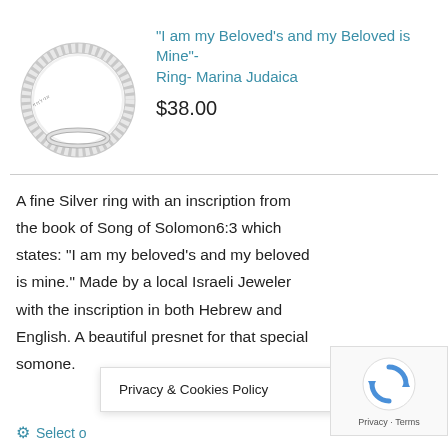[Figure (photo): Silver ring with Hebrew inscription, shown at an angle against white background]
“I am my Beloved’s and my Beloved is Mine”- Ring- Marina Judaica
$38.00
A fine Silver ring with an inscription from the book of Song of Solomon6:3 which states: "I am my beloved’s and my beloved is mine." Made by a local Israeli Jeweler with the inscription in both Hebrew and English. A beautiful presnet for that special somone.
Privacy & Cookies Policy
Select o